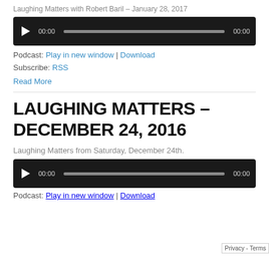Laughing Matters with Robert Baril – January 28, 2017
[Figure (other): Audio player with play button, time 00:00, progress bar, and end time 00:00 on dark background]
Podcast: Play in new window | Download
Subscribe: RSS
Read More
LAUGHING MATTERS – DECEMBER 24, 2016
Laughing Matters from Saturday, December 24th.
[Figure (other): Audio player with play button, time 00:00, progress bar, and end time 00:00 on dark background]
Podcast: Play in new window | Download